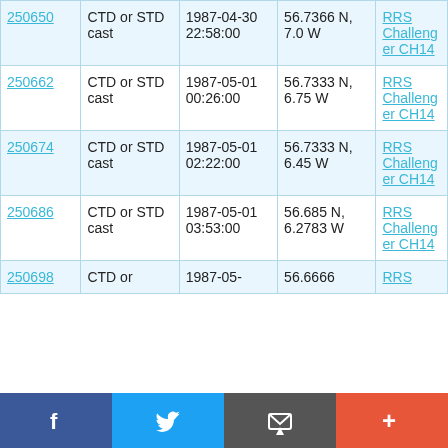| 250650 | CTD or STD cast | 1987-04-30 22:58:00 | 56.7366 N, 7.0 W | RRS Challenger CH14 |
| 250662 | CTD or STD cast | 1987-05-01 00:26:00 | 56.7333 N, 6.75 W | RRS Challenger CH14 |
| 250674 | CTD or STD cast | 1987-05-01 02:22:00 | 56.7333 N, 6.45 W | RRS Challenger CH14 |
| 250686 | CTD or STD cast | 1987-05-01 03:53:00 | 56.685 N, 6.2783 W | RRS Challenger CH14 |
| 250698 | CTD or | 1987-05- | 56.6666 | RRS |
[Figure (other): Social sharing bar with Facebook, Twitter, email, and plus buttons]